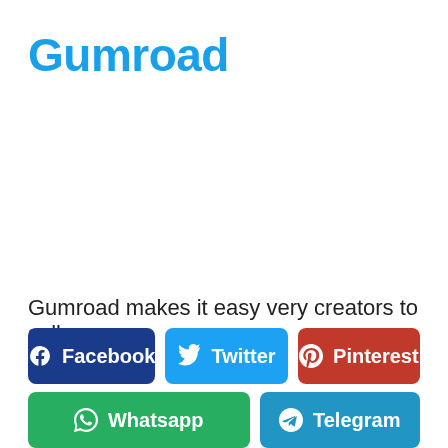Gumroad
Gumroad makes it easy very creators to sell
[Figure (screenshot): Social sharing buttons: Facebook, Twitter, Pinterest, Whatsapp, Telegram]